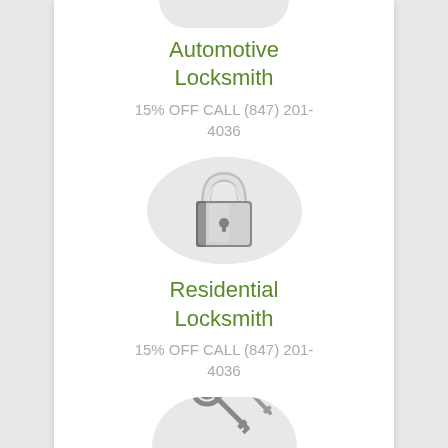[Figure (illustration): Partial circle at top showing automotive locksmith icon (car key/fob)]
Automotive Locksmith
15% OFF CALL (847) 201-4036
[Figure (illustration): Circle with padlock image for Residential Locksmith]
Residential Locksmith
15% OFF CALL (847) 201-4036
[Figure (illustration): Partial circle at bottom showing keys image]